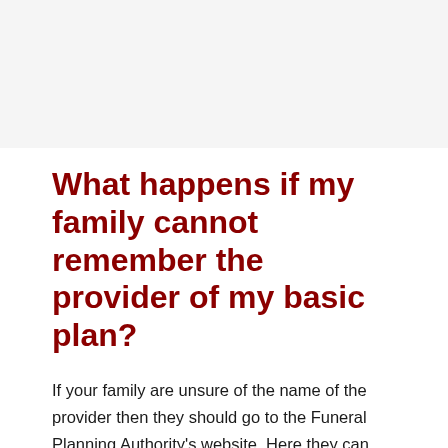What happens if my family cannot remember the provider of my basic plan?
If your family are unsure of the name of the provider then they should go to the Funeral Planning Authority's website. Here they can find a tracker and find out who your provider is and where the funeral